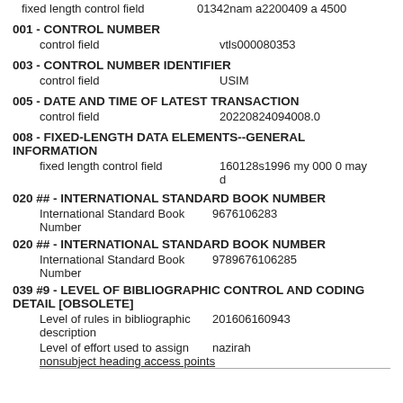fixed length control field	01342nam a2200409 a 4500
001 - CONTROL NUMBER
control field	vtls000080353
003 - CONTROL NUMBER IDENTIFIER
control field	USIM
005 - DATE AND TIME OF LATEST TRANSACTION
control field	20220824094008.0
008 - FIXED-LENGTH DATA ELEMENTS--GENERAL INFORMATION
fixed length control field	160128s1996 my 000 0 may d
020 ## - INTERNATIONAL STANDARD BOOK NUMBER
International Standard Book Number	9676106283
020 ## - INTERNATIONAL STANDARD BOOK NUMBER
International Standard Book Number	9789676106285
039 #9 - LEVEL OF BIBLIOGRAPHIC CONTROL AND CODING DETAIL [OBSOLETE]
Level of rules in bibliographic description	201606160943
Level of effort used to assign nonsubject heading access points	nazirah